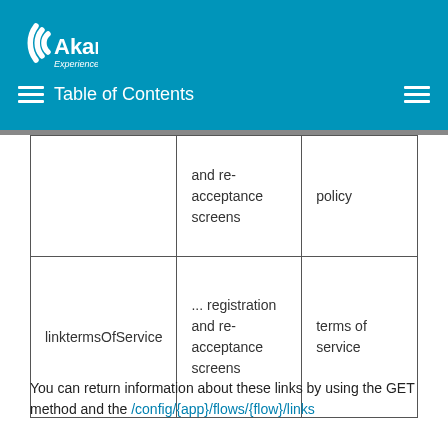[Figure (logo): Akamai logo with tagline 'Experience the Edge' on blue header background with Table of Contents navigation]
|  | and re-acceptance screens | policy |
| linktermsOfService | ... registration and re-acceptance screens | terms of service |
You can return information about these links by using the GET method and the /config/{app}/flows/{flow}/links